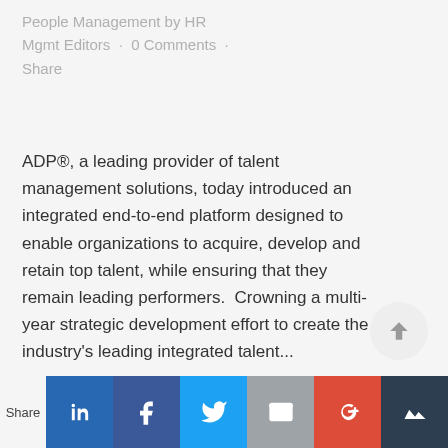People Management by HR Mgmt Editors · 0 Comments · Share
ADP®, a leading provider of talent management solutions, today introduced an integrated end-to-end platform designed to enable organizations to acquire, develop and retain top talent, while ensuring that they remain leading performers.  Crowning a multi-year strategic development effort to create the industry's leading integrated talent...
Share